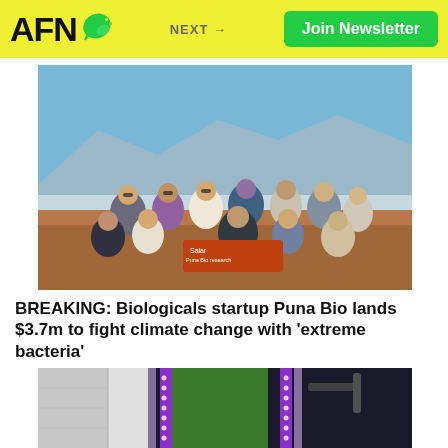AFN | NEXT → | Join Newsletter
[Figure (photo): Group of approximately 12 people posing outdoors in an arid, high-altitude desert landscape with mountains and salt flats in the background. They are holding an orange sign. People are wearing outdoor clothing.]
BREAKING: Biologicals startup Puna Bio lands $3.7m to fight climate change with 'extreme bacteria'
[Figure (photo): Close-up of vertical LED grow lights (purple/green) on what appears to be an indoor farming or greenhouse structure with mechanical arm visible.]